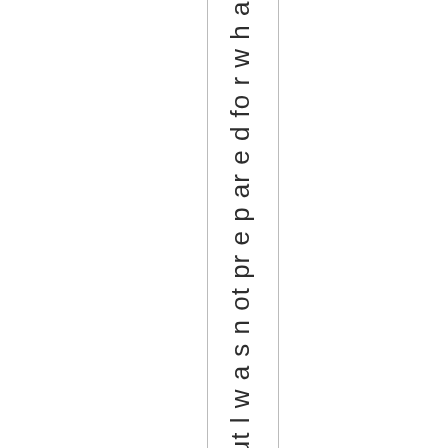considered, but I was not prepared for what I saw wah